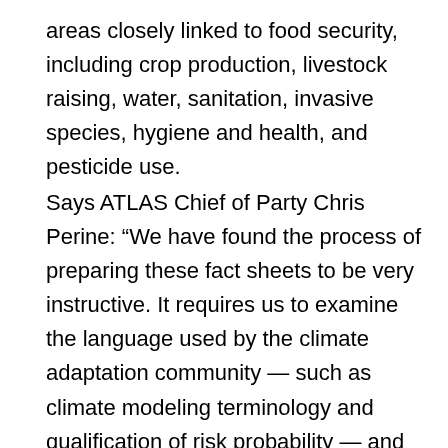areas closely linked to food security, including crop production, livestock raising, water, sanitation, invasive species, hygiene and health, and pesticide use.
Says ATLAS Chief of Party Chris Perine: “We have found the process of preparing these fact sheets to be very instructive. It requires us to examine the language used by the climate adaptation community — such as climate modeling terminology and qualification of risk probability — and express this information succinctly for a more general audience. We must do this, however, without over-generalizing and losing the nuances